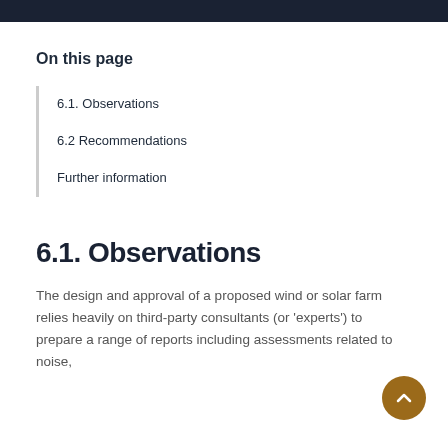On this page
6.1. Observations
6.2 Recommendations
Further information
6.1. Observations
The design and approval of a proposed wind or solar farm relies heavily on third-party consultants (or 'experts') to prepare a range of reports including assessments related to noise,